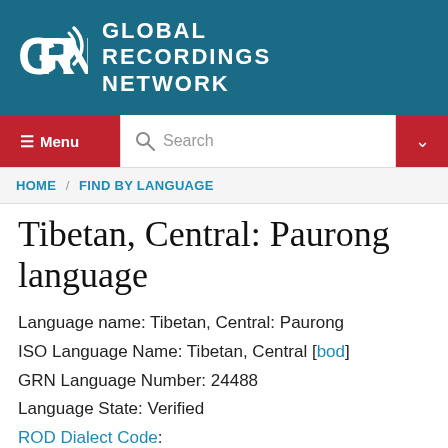[Figure (logo): Global Recordings Network logo with GRN icon and white text on teal background]
≡ Menu | Search | ∨
HOME / FIND BY LANGUAGE
Tibetan, Central: Paurong language
Language name: Tibetan, Central: Paurong
ISO Language Name: Tibetan, Central [bod]
GRN Language Number: 24488
Language State: Verified
ROD Dialect Code:
Audio recordings available in Tibetan, Central: Paurong